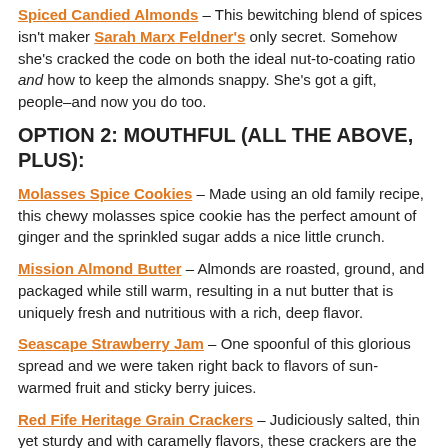Spiced Candied Almonds – This bewitching blend of spices isn't maker Sarah Marx Feldner's only secret. Somehow she's cracked the code on both the ideal nut-to-coating ratio and how to keep the almonds snappy. She's got a gift, people–and now you do too.
OPTION 2: MOUTHFUL (ALL THE ABOVE, PLUS):
Molasses Spice Cookies – Made using an old family recipe, this chewy molasses spice cookie has the perfect amount of ginger and the sprinkled sugar adds a nice little crunch.
Mission Almond Butter – Almonds are roasted, ground, and packaged while still warm, resulting in a nut butter that is uniquely fresh and nutritious with a rich, deep flavor.
Seascape Strawberry Jam – One spoonful of this glorious spread and we were taken right back to flavors of sun-warmed fruit and sticky berry juices.
Red Fife Heritage Grain Crackers – Judiciously salted, thin yet sturdy and with caramelly flavors, these crackers are the perfect backdrop to the almond butter and jam.